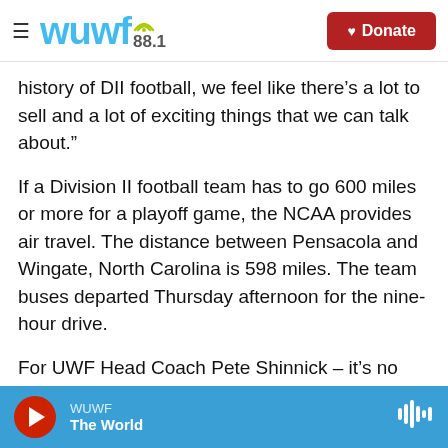WUWF 88.1 — Donate
history of DII football, we feel like there’s a lot to sell and a lot of exciting things that we can talk about.”
If a Division II football team has to go 600 miles or more for a playoff game, the NCAA provides air travel. The distance between Pensacola and Wingate, North Carolina is 598 miles. The team buses departed Thursday afternoon for the nine-hour drive.
For UWF Head Coach Pete Shinnick – it’s no biggie.
“We played [Missouri S&T] which was 13 hours away, [Florida Tech] is actually just as far,” Shinnick
WUWF — The World